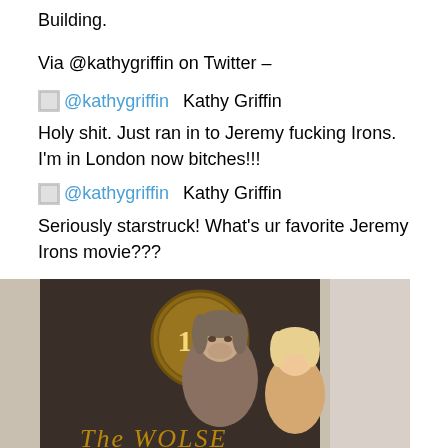Building.
Via @kathygriffin on Twitter –
[Figure (screenshot): Twitter avatar placeholder image for Kathy Griffin]
@kathygriffin  Kathy Griffin
Holy shit. Just ran in to Jeremy fucking Irons. I'm in London now bitches!!!
[Figure (screenshot): Twitter avatar placeholder image for Kathy Griffin]
@kathygriffin  Kathy Griffin
Seriously starstruck! What's ur favorite Jeremy Irons movie???
[Figure (photo): Photo of Jeremy Irons and Kathy Griffin standing in front of a sign that appears to say 'The Wolseley' with a '100' emblem, taken in London.]